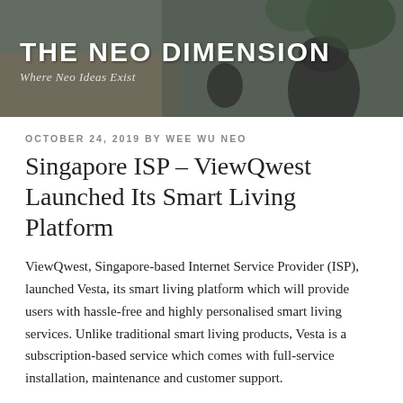THE NEO DIMENSION
Where Neo Ideas Exist
OCTOBER 24, 2019 BY WEE WU NEO
Singapore ISP – ViewQwest Launched Its Smart Living Platform
ViewQwest, Singapore-based Internet Service Provider (ISP), launched Vesta, its smart living platform which will provide users with hassle-free and highly personalised smart living services. Unlike traditional smart living products, Vesta is a subscription-based service which comes with full-service installation, maintenance and customer support.